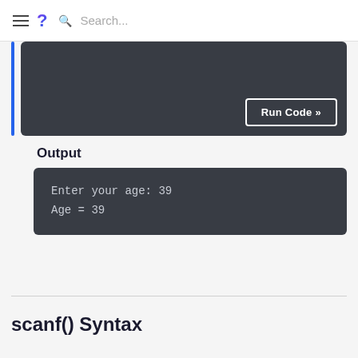≡ ? Search...
[Figure (screenshot): Dark code editor box with Run Code button]
Output
Enter your age: 39
Age = 39
scanf() Syntax
The syntax of scanf() is: